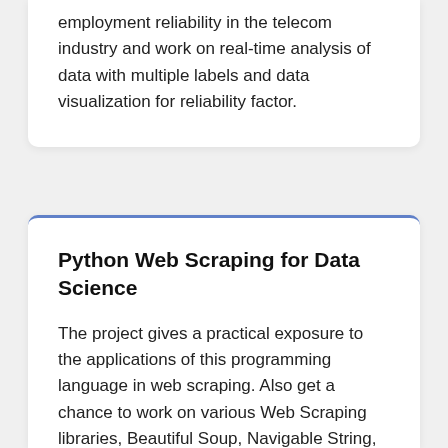employment reliability in the telecom industry and work on real-time analysis of data with multiple labels and data visualization for reliability factor.
Python Web Scraping for Data Science
The project gives a practical exposure to the applications of this programming language in web scraping. Also get a chance to work on various Web Scraping libraries, Beautiful Soup, Navigable String, parser, searching tree deployment, and more.